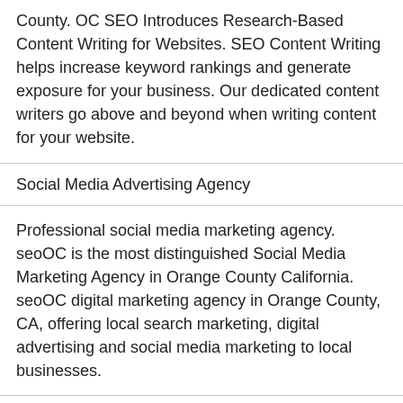County. OC SEO Introduces Research-Based Content Writing for Websites. SEO Content Writing helps increase keyword rankings and generate exposure for your business. Our dedicated content writers go above and beyond when writing content for your website.
Social Media Advertising Agency
Professional social media marketing agency. seoOC is the most distinguished Social Media Marketing Agency in Orange County California. seoOC digital marketing agency in Orange County, CA, offering local search marketing, digital advertising and social media marketing to local businesses.
Social Media Agency